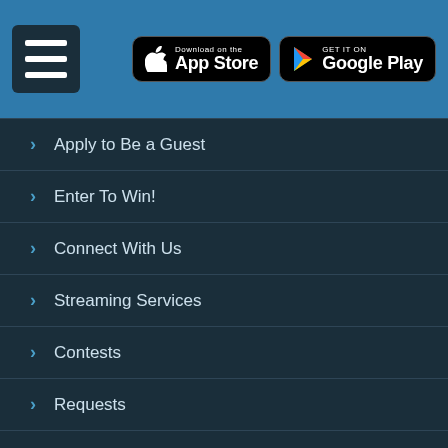Navigation header with hamburger menu, App Store and Google Play download buttons
Apply to Be a Guest
Enter To Win!
Connect With Us
Streaming Services
Contests
Requests
Join The 4 Club
VIP Lounge
Blog
Media
RADIO STATION AFFILIATES